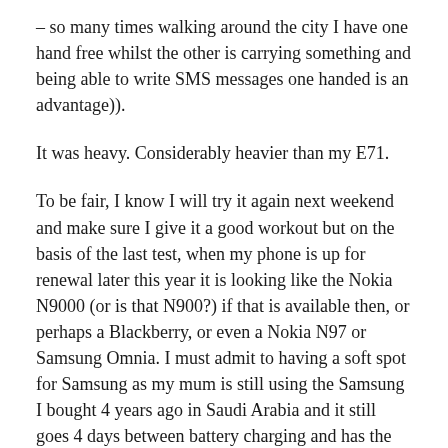– so many times walking around the city I have one hand free whilst the other is carrying something and being able to write SMS messages one handed is an advantage)).
It was heavy. Considerably heavier than my E71.
To be fair, I know I will try it again next weekend and make sure I give it a good workout but on the basis of the last test, when my phone is up for renewal later this year it is looking like the Nokia N9000 (or is that N900?) if that is available then, or perhaps a Blackberry, or even a Nokia N97 or Samsung Omnia. I must admit to having a soft spot for Samsung as my mum is still using the Samsung I bought 4 years ago in Saudi Arabia and it still goes 4 days between battery charging and has the clearest display I have ever seen.